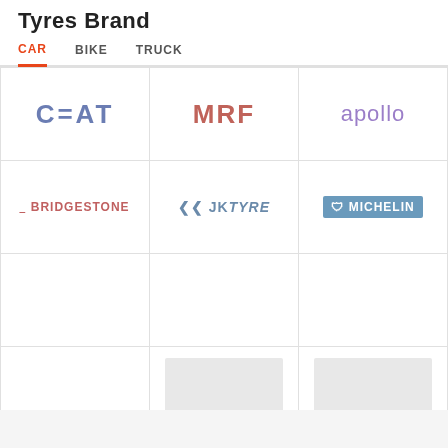Tyres Brand
CAR   BIKE   TRUCK
[Figure (logo): Grid of tyre brand logos: CEAT, MRF, apollo, BRIDGESTONE, JK TYRE, MICHELIN, and placeholder cells]
View All Car Tyre Brands